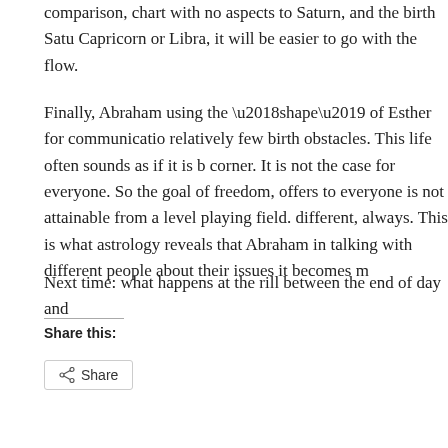comparison, chart with no aspects to Saturn, and the birth Saturn in Capricorn or Libra, it will be easier to go with the flow.
Finally, Abraham using the ‘shape’ of Esther for communication relatively few birth obstacles. This life often sounds as if it is bl corner. It is not the case for everyone. So the goal of freedom, g offers to everyone is not attainable from a level playing field. O different, always. This is what astrology reveals that Abraham d in talking with different people about their issues it becomes mo
Next time: what happens at the rill between the end of day and t
Share this:
[Figure (other): Share button with share icon]